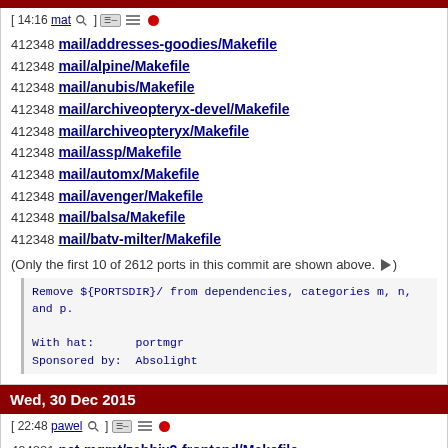[ 14:16 mat ] [icons]
412348 mail/addresses-goodies/Makefile
412348 mail/alpine/Makefile
412348 mail/anubis/Makefile
412348 mail/archiveopteryx-devel/Makefile
412348 mail/archiveopteryx/Makefile
412348 mail/assp/Makefile
412348 mail/automx/Makefile
412348 mail/avenger/Makefile
412348 mail/balsa/Makefile
412348 mail/batv-milter/Makefile
(Only the first 10 of 2612 ports in this commit are shown above. ►)
Remove ${PORTSDIR}/ from dependencies, categories m, n,
and p.

With hat:      portmgr
Sponsored by:  Absolight
Wed, 30 Dec 2015
[ 22:48 pawel ] [icons]
404881 net-mgmt/zabbix2-frontend/Makefile